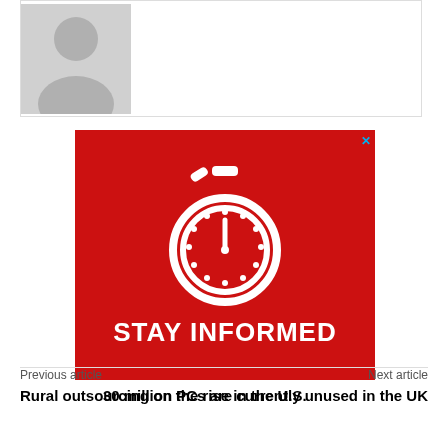[Figure (illustration): Default user profile avatar placeholder image — gray silhouette of a person on a light gray background, inside a white bordered box]
[Figure (infographic): Red advertisement banner with a white stopwatch icon and bold white text reading STAY INFORMED, with a close X button in the top right corner]
Previous article
Next article
Rural outsourcing on the rise in the U.S.
30 million PCs are currently unused in the UK